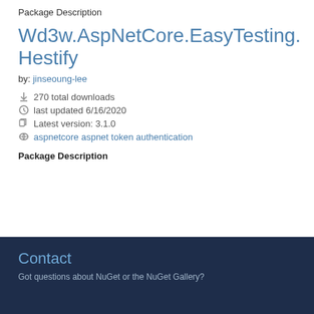Package Description
Wd3w.AspNetCore.EasyTesting.Hestify
by: jinseoung-lee
270 total downloads
last updated 6/16/2020
Latest version: 3.1.0
aspnetcore aspnet token authentication
Package Description
Contact
Got questions about NuGet or the NuGet Gallery?